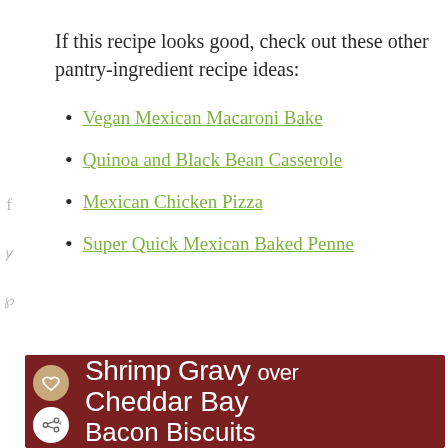If this recipe looks good, check out these other pantry-ingredient recipe ideas:
Vegan Mexican Macaroni Bake
Quinoa and Black Bean Casserole
Mexican Chicken Pizza
Super Quick Mexican Baked Penne
[Figure (other): Promotional banner for 'Shrimp Gravy over Cheddar Bay Bacon Biscuits' recipe with dark red background and white text, with heart and share buttons on the left side]